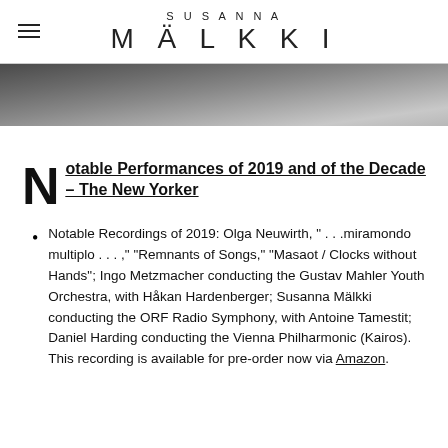SUSANNA MÄLKKI
[Figure (photo): Partial view of a person in dark clothing against a light textured background, cropped banner-style]
Notable Performances of 2019 and of the Decade – The New Yorker
Notable Recordings of 2019: Olga Neuwirth, " . . .miramondo multiplo . . . ," "Remnants of Songs," "Masaot / Clocks without Hands"; Ingo Metzmacher conducting the Gustav Mahler Youth Orchestra, with Håkan Hardenberger; Susanna Mälkki conducting the ORF Radio Symphony, with Antoine Tamestit; Daniel Harding conducting the Vienna Philharmonic (Kairos). This recording is available for pre-order now via Amazon.